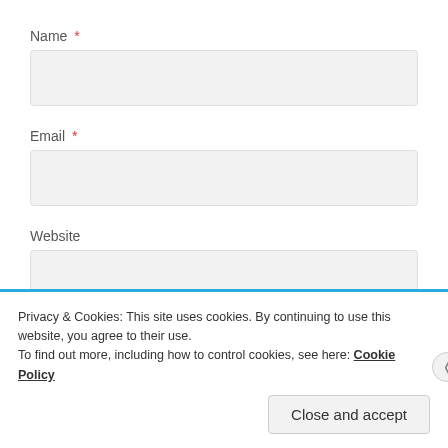Name *
[Figure (screenshot): Empty text input box for Name field]
Email *
[Figure (screenshot): Empty text input box for Email field]
Website
[Figure (screenshot): Empty text input box for Website field]
Privacy & Cookies: This site uses cookies. By continuing to use this website, you agree to their use. To find out more, including how to control cookies, see here: Cookie Policy
Close and accept